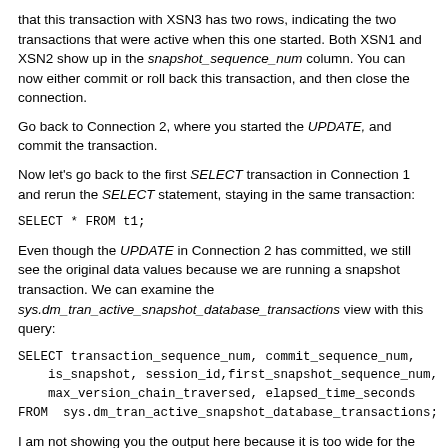that this transaction with XSN3 has two rows, indicating the two transactions that were active when this one started. Both XSN1 and XSN2 show up in the snapshot_sequence_num column. You can now either commit or roll back this transaction, and then close the connection.
Go back to Connection 2, where you started the UPDATE, and commit the transaction.
Now let's go back to the first SELECT transaction in Connection 1 and rerun the SELECT statement, staying in the same transaction:
SELECT * FROM t1;
Even though the UPDATE in Connection 2 has committed, we still see the original data values because we are running a snapshot transaction. We can examine the sys.dm_tran_active_snapshot_database_transactions view with this query:
SELECT transaction_sequence_num, commit_sequence_num,
    is_snapshot, session_id,first_snapshot_sequence_num,
    max_version_chain_traversed, elapsed_time_seconds
FROM  sys.dm_tran_active_snapshot_database_transactions;
I am not showing you the output here because it is too wide for the page, but there are many columns that you should find interesting. In particular, the transaction_sequence_num column contains XSN1, which is the XSN for the current connection. You could actually run the preceding query from any connection; it shows all active snapshot transactions in the SQL Server instance, and because it includes the session_id, you can